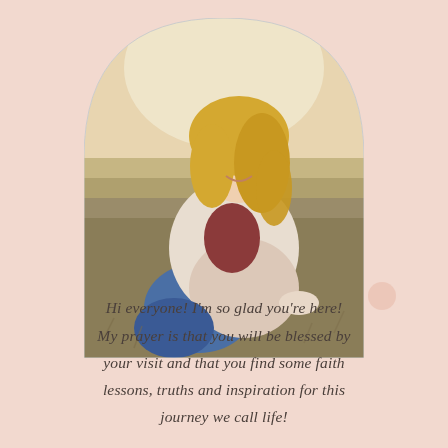[Figure (photo): A smiling blonde woman sitting in a grassy field, wearing a cream/pink cardigan and jeans, photographed outdoors with warm golden light. The photo is displayed in an arch (rounded top rectangle) frame shape.]
Hi everyone!  I'm so glad you're here!  My prayer is that you will be blessed by your visit and that you find some faith lessons, truths and inspiration for this journey we call life!